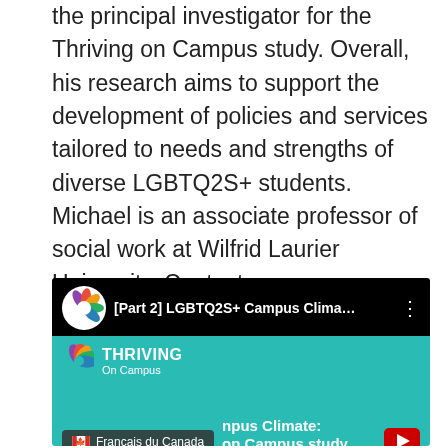the principal investigator for the Thriving on Campus study. Overall, his research aims to support the development of policies and services tailored to needs and strengths of diverse LGBTQ2S+ students. Michael is an associate professor of social work at Wilfrid Laurier University. Contact: mwoodford@wlu.ca
[Figure (screenshot): Screenshot of a YouTube video embed showing '[Part 2] LGBTQ2S+ Campus Clima...' with the Thriving On Campus logo, teal background, and a 'Français du Canada' caption overlay with a Canadian flag icon, plus partial text 'npus Climate: on Campus study']